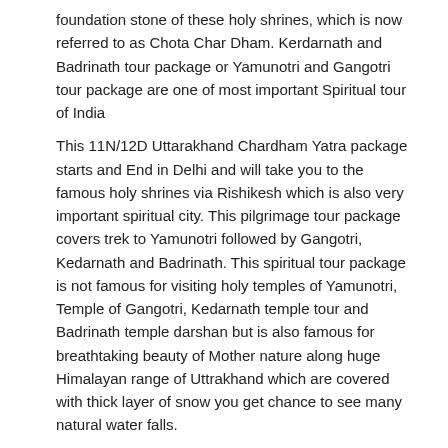foundation stone of these holy shrines, which is now referred to as Chota Char Dham. Kerdarnath and Badrinath tour package or Yamunotri and Gangotri tour package are one of most important Spiritual tour of India
This 11N/12D Uttarakhand Chardham Yatra package starts and End in Delhi and will take you to the famous holy shrines via Rishikesh which is also very important spiritual city. This pilgrimage tour package covers trek to Yamunotri followed by Gangotri, Kedarnath and Badrinath. This spiritual tour package is not famous for visiting holy temples of Yamunotri, Temple of Gangotri, Kedarnath temple tour and Badrinath temple darshan but is also famous for breathtaking beauty of Mother nature along huge Himalayan range of Uttrakhand which are covered with thick layer of snow you get chance to see many natural water falls.
Itinerary at Glance:-
Day 01:- Arrive Delhi to Rishikesh sightseeing tour and